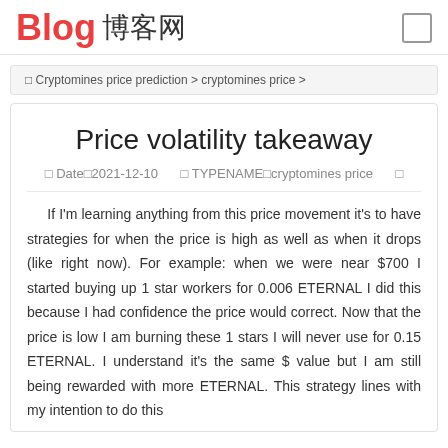Blog 博客网
🔲 Cryptomines price prediction > cryptomines price >
Price volatility takeaway
🔲 Date🔲2021-12-10  🔲 TYPENAME🔲cryptomines price  🔲
If I'm learning anything from this price movement it's to have strategies for when the price is high as well as when it drops (like right now). For example: when we were near $700 I started buying up 1 star workers for 0.006 ETERNAL I did this because I had confidence the price would correct. Now that the price is low I am burning these 1 stars I will never use for 0.15 ETERNAL. I understand it's the same $ value but I am still being rewarded with more ETERNAL. This strategy lines with my intention to do this...